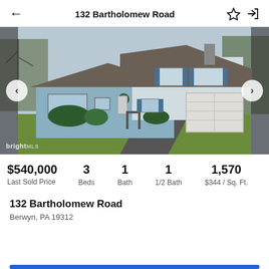132 Bartholomew Road
[Figure (photo): Exterior photo of a light blue split-level house with gray roof, white siding on upper level, blue shutters, attached garage, green lawn, and paved driveway. BrightMLS watermark in bottom left.]
$540,000 Last Sold Price | 3 Beds | 1 Bath | 1 1/2 Bath | 1,570 $344 / Sq. Ft.
132 Bartholomew Road
Berwyn, PA 19312